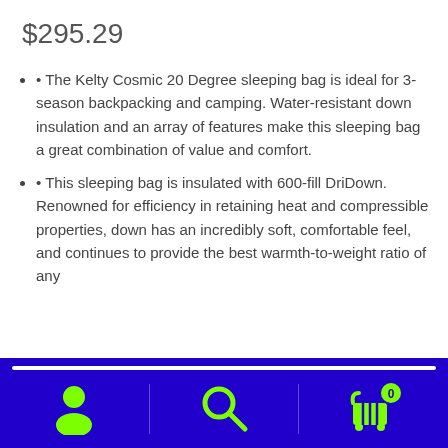$295.29
• The Kelty Cosmic 20 Degree sleeping bag is ideal for 3-season backpacking and camping. Water-resistant down insulation and an array of features make this sleeping bag a great combination of value and comfort.
• This sleeping bag is insulated with 600-fill DriDown. Renowned for efficiency in retaining heat and compressible properties, down has an incredibly soft, comfortable feel, and continues to provide the best warmth-to-weight ratio of any